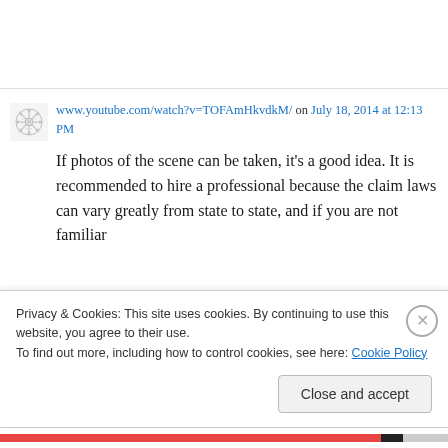www.youtube.com/watch?v=TOFAmHkvdkM/ on July 18, 2014 at 12:13 PM
If photos of the scene can be taken, it's a good idea. It is recommended to hire a professional because the claim laws can vary greatly from state to state, and if you are not familiar
Privacy & Cookies: This site uses cookies. By continuing to use this website, you agree to their use.
To find out more, including how to control cookies, see here: Cookie Policy